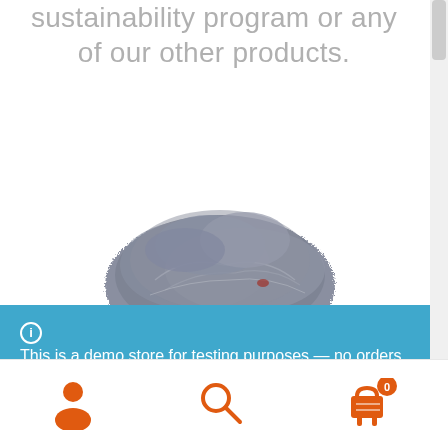sustainability program or any of our other products.
[Figure (photo): A clump of gray recycled textile fiber/material on a white background]
This is a demo store for testing purposes — no orders shall be fulfilled.
Dismiss
[Figure (other): Bottom navigation bar with user account icon, search icon, and shopping cart icon with badge showing 0]